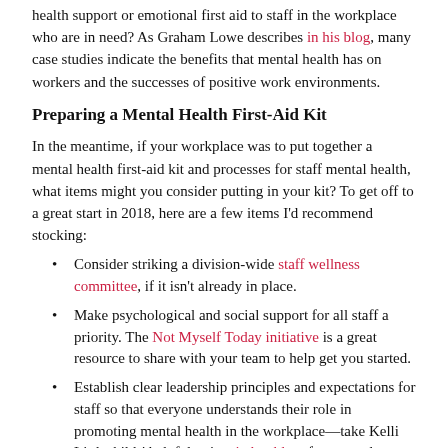health support or emotional first aid to staff in the workplace who are in need? As Graham Lowe describes in his blog, many case studies indicate the benefits that mental health has on workers and the successes of positive work environments.
Preparing a Mental Health First-Aid Kit
In the meantime, if your workplace was to put together a mental health first-aid kit and processes for staff mental health, what items might you consider putting in your kit? To get off to a great start in 2018, here are a few items I'd recommend stocking:
Consider striking a division-wide staff wellness committee, if it isn't already in place.
Make psychological and social support for all staff a priority. The Not Myself Today initiative is a great resource to share with your team to help get you started.
Establish clear leadership principles and expectations for staff so that everyone understands their role in promoting mental health in the workplace—take Kelli Littlechilds' helpful points in her blog, for example.
Develop opportunities for employee growth, using this resource to help you create wellness programs for your